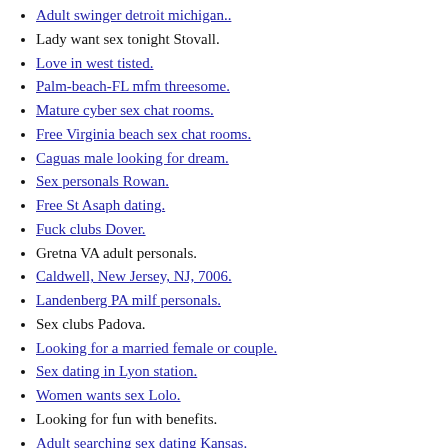Adult swinger detroit michigan..
Lady want sex tonight Stovall.
Love in west tisted.
Palm-beach-FL mfm threesome.
Mature cyber sex chat rooms.
Free Virginia beach sex chat rooms.
Caguas male looking for dream.
Sex personals Rowan.
Free St Asaph dating.
Fuck clubs Dover.
Gretna VA adult personals.
Caldwell, New Jersey, NJ, 7006.
Landenberg PA milf personals.
Sex clubs Padova.
Looking for a married female or couple.
Sex dating in Lyon station.
Women wants sex Lolo.
Looking for fun with benefits.
Adult searching sex dating Kansas.
Sevilla sex chat roulette.
Looking for an older lover.
Get laid Cadillac.
Horny wives in West sacramento California-Sex finder-married fuck buddy